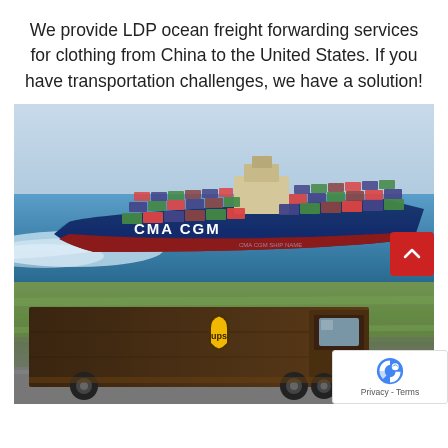We provide LDP ocean freight forwarding services for clothing from China to the United States. If you have transportation challenges, we have a solution!
[Figure (photo): Large CMA CGM container ship sailing on ocean, loaded with many shipping containers stacked high, aerial perspective with white wake behind it]
[Figure (photo): UPS brown delivery truck in motion with motion blur background of trees and road, UPS shield logo visible on side]